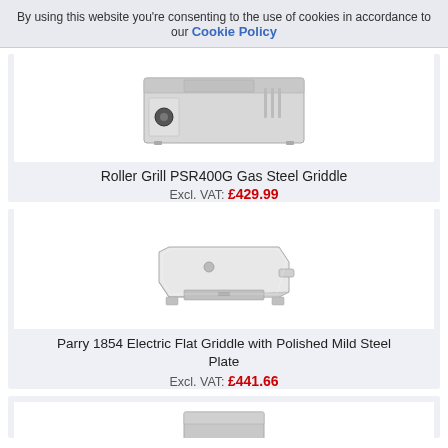By using this website you're consenting to the use of cookies in accordance to our Cookie Policy
[Figure (photo): Roller Grill PSR400G Gas Steel Griddle - a commercial stainless steel gas griddle with knob control]
Roller Grill PSR400G Gas Steel Griddle
Excl. VAT: £429.99
[Figure (photo): Parry 1854 Electric Flat Griddle with Polished Mild Steel Plate - a square flat commercial griddle]
Parry 1854 Electric Flat Griddle with Polished Mild Steel Plate
Excl. VAT: £441.66
[Figure (photo): Partial view of a third griddle product at the bottom of the page]